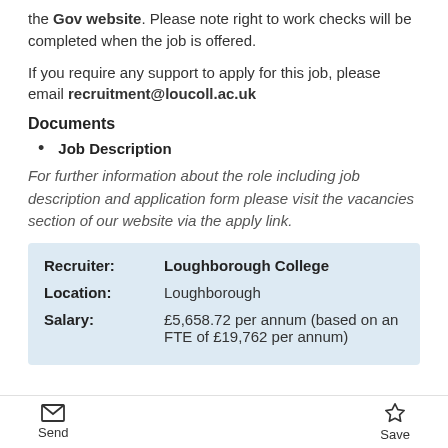the Gov website. Please note right to work checks will be completed when the job is offered.
If you require any support to apply for this job, please email recruitment@loucoll.ac.uk
Documents
Job Description
For further information about the role including job description and application form please visit the vacancies section of our website via the apply link.
| Field | Value |
| --- | --- |
| Recruiter: | Loughborough College |
| Location: | Loughborough |
| Salary: | £5,658.72 per annum (based on an FTE of £19,762 per annum) |
Send   Save